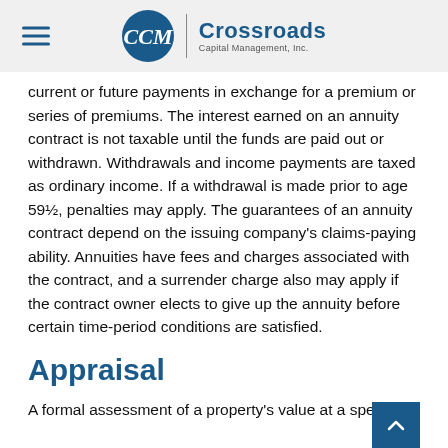Crossroads Capital Management, Inc.
current or future payments in exchange for a premium or series of premiums. The interest earned on an annuity contract is not taxable until the funds are paid out or withdrawn. Withdrawals and income payments are taxed as ordinary income. If a withdrawal is made prior to age 59½, penalties may apply. The guarantees of an annuity contract depend on the issuing company's claims-paying ability. Annuities have fees and charges associated with the contract, and a surrender charge also may apply if the contract owner elects to give up the annuity before certain time-period conditions are satisfied.
Appraisal
A formal assessment of a property's value at a spe...